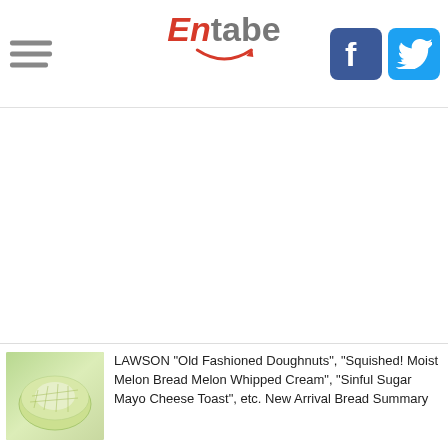Entabe
[Figure (logo): Entabe logo with red 'En' and grey 'tabe' text, with a red smile arc beneath]
[Figure (illustration): Facebook icon - white F on blue rounded square]
[Figure (illustration): Twitter icon - white bird on blue rounded square]
[Figure (photo): Thumbnail image of a green melon bread roll]
LAWSON "Old Fashioned Doughnuts", "Squished! Moist Melon Bread Melon Whipped Cream", "Sinful Sugar Mayo Cheese Toast", etc. New Arrival Bread Summary